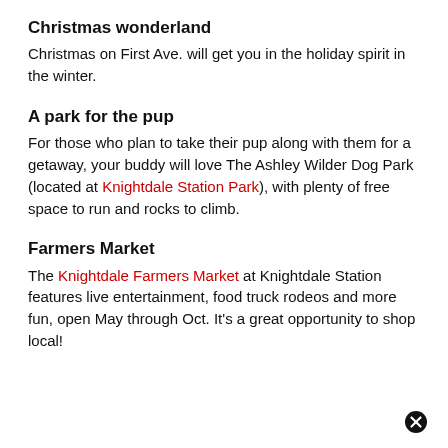Christmas wonderland
Christmas on First Ave. will get you in the holiday spirit in the winter.
A park for the pup
For those who plan to take their pup along with them for a getaway, your buddy will love The Ashley Wilder Dog Park (located at Knightdale Station Park), with plenty of free space to run and rocks to climb.
Farmers Market
The Knightdale Farmers Market at Knightdale Station features live entertainment, food truck rodeos and more fun, open May through Oct. It's a great opportunity to shop local!